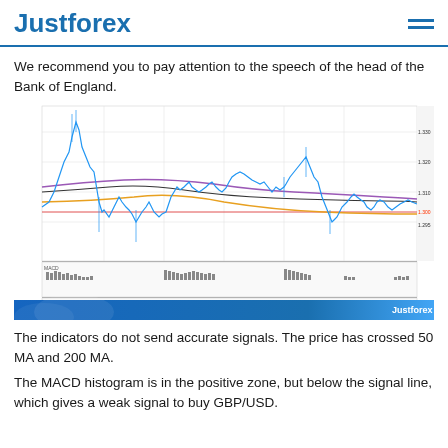Justforex
We recommend you to pay attention to the speech of the head of the Bank of England.
[Figure (continuous-plot): GBP/USD candlestick/line chart with 50 MA, 200 MA moving averages, MACD histogram, and signal line indicator panel at the bottom. Price shows a peak then decline pattern with moving average crossovers. Justforex watermark at bottom.]
The indicators do not send accurate signals. The price has crossed 50 MA and 200 MA.
The MACD histogram is in the positive zone, but below the signal line, which gives a weak signal to buy GBP/USD.